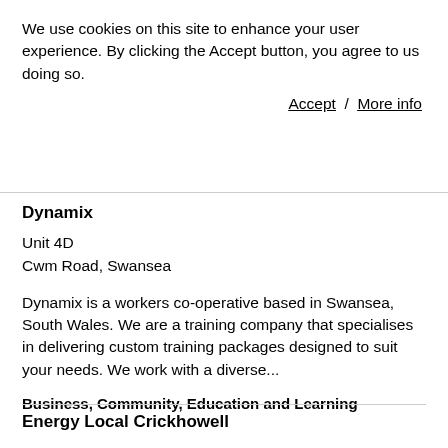We use cookies on this site to enhance your user experience. By clicking the Accept button, you agree to us doing so.
Accept / More info
Dynamix
Unit 4D
Cwm Road, Swansea
Dynamix is a workers co-operative based in Swansea, South Wales. We are a training company that specialises in delivering custom training packages designed to suit your needs. We work with a diverse...
Business, Community, Education and Learning
Energy Local Crickhowell